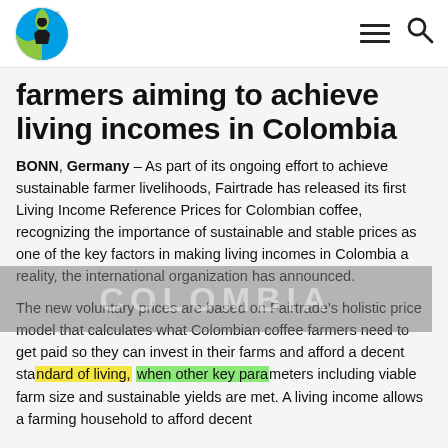Fairtrade logo, hamburger menu, search icon
farmers aiming to achieve living incomes in Colombia
BONN, Germany – As part of its ongoing effort to achieve sustainable farmer livelihoods, Fairtrade has released its first Living Income Reference Prices for Colombian coffee, recognizing the importance of sustainable and stable prices as one of the key factors in making living incomes in Colombia a reality, the international organization has announced.
The new voluntary prices are based on Fairtrade's holistic price model that calculates what Colombian coffee farmers need to get paid so they can invest in their farms and afford a decent standard of living, when other key parameters including viable farm size and sustainable yields are met. A living income allows a farming household to afford decent